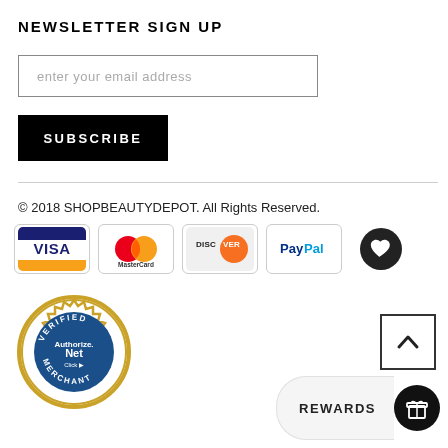NEWSLETTER SIGN UP
enter your email address
SUBSCRIBE
© 2018 SHOPBEAUTYDEPOT. All Rights Reserved.
[Figure (logo): Payment method logos: Visa, MasterCard, Discover, PayPal, and a heart/favorites icon circle]
[Figure (logo): Authorize.Net Verified Merchant seal badge]
[Figure (other): Back to top arrow button (chevron up in a square border)]
REWARDS